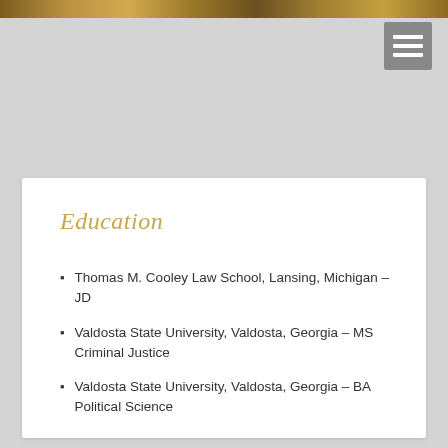[Figure (photo): Top decorative banner strip with warm golden/brown tones]
Education
Thomas M. Cooley Law School, Lansing, Michigan – JD
Valdosta State University, Valdosta, Georgia – MS Criminal Justice
Valdosta State University, Valdosta, Georgia – BA Political Science